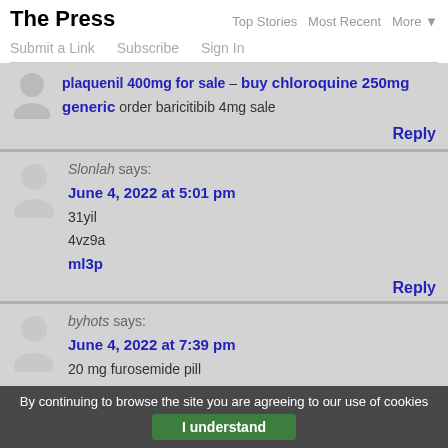The Press | Top Stories  Most Recent  More
Submit a Link   Subscribe   Sign In
plaquenil 400mg for sale – buy chloroquine 250mg generic order baricitibib 4mg sale
Reply
Slonlah says: June 4, 2022 at 5:01 pm
31yil
4vz9a
ml3p
Reply
byhots says: June 4, 2022 at 7:39 pm
20 mg furosemide pill
lasix side effects in elderly
lasix and kidney function
By continuing to browse the site you are agreeing to our use of cookies
I understand